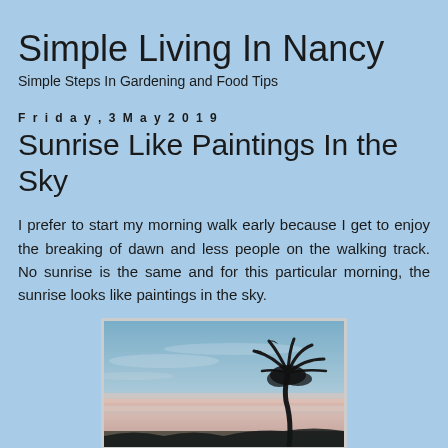Simple Living In Nancy
Simple Steps In Gardening and Food Tips
Friday, 3 May 2019
Sunrise Like Paintings In the Sky
I prefer to start my morning walk early because I get to enjoy the breaking of dawn and less people on the walking track. No sunrise is the same and for this particular morning, the sunrise looks like paintings in the sky.
[Figure (photo): Sunrise photo showing a light blue and pink sky with silhouette of a palm tree in the lower right corner]